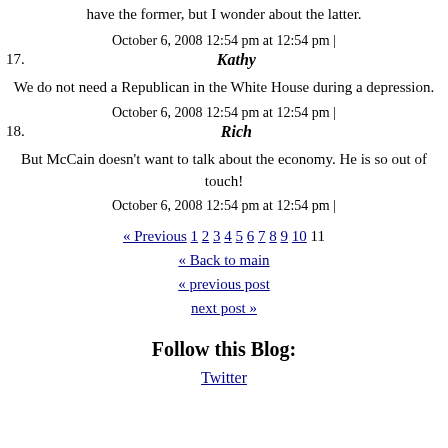have the former, but I wonder about the latter.
October 6, 2008 12:54 pm at 12:54 pm |
17. Kathy
We do not need a Republican in the White House during a depression.
October 6, 2008 12:54 pm at 12:54 pm |
18. Rich
But McCain doesn't want to talk about the economy. He is so out of touch!
October 6, 2008 12:54 pm at 12:54 pm |
« Previous 1 2 3 4 5 6 7 8 9 10 11
« Back to main
« previous post
next post »
Follow this Blog:
Twitter